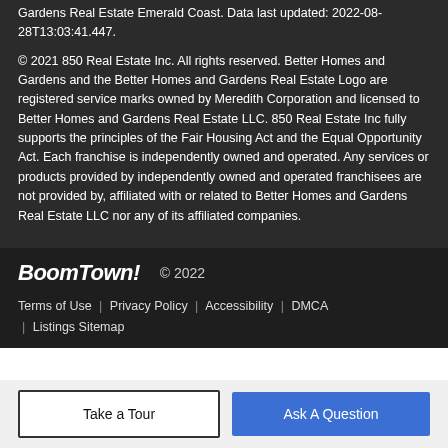Gardens Real Estate Emerald Coast. Data last updated: 2022-08-28T13:03:41.447.
© 2021 850 Real Estate Inc. All rights reserved. Better Homes and Gardens and the Better Homes and Gardens Real Estate Logo are registered service marks owned by Meredith Corporation and licensed to Better Homes and Gardens Real Estate LLC. 850 Real Estate Inc fully supports the principles of the Fair Housing Act and the Equal Opportunity Act. Each franchise is independently owned and operated. Any services or products provided by independently owned and operated franchisees are not provided by, affiliated with or related to Better Homes and Gardens Real Estate LLC nor any of its affiliated companies.
BoomTown! © 2022
Terms of Use | Privacy Policy | Accessibility | DMCA | Listings Sitemap
Take a Tour | Ask A Question